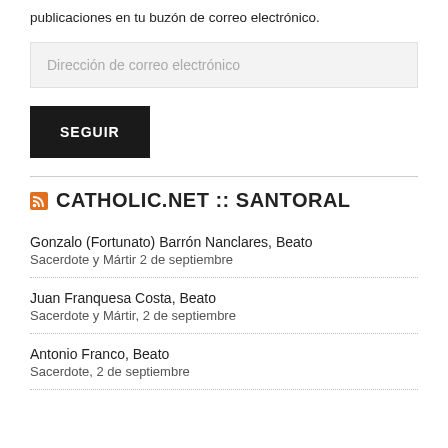publicaciones en tu buzón de correo electrónico.
Dirección de correo electrónico
SEGUIR
CATHOLIC.NET :: SANTORAL
Gonzalo (Fortunato) Barrón Nanclares, Beato
Sacerdote y Mártir 2 de septiembre
Juan Franquesa Costa, Beato
Sacerdote y Mártir, 2 de septiembre
Antonio Franco, Beato
Sacerdote, 2 de septiembre